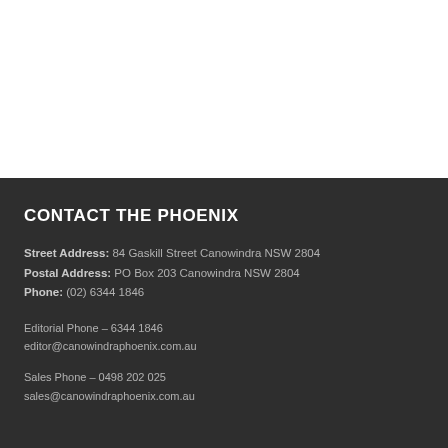CONTACT THE PHOENIX
Street Address: 84 Gaskill Street Canowindra NSW 2804
Postal Address: PO Box 203 Canowindra NSW 2804
Phone: (02) 6344 1846
Editorial Phone – 6344 1846
editor@canowindraphoenix.com.au
Sales Phone – 0498 202 025
sales@canowindraphoenix.com.au